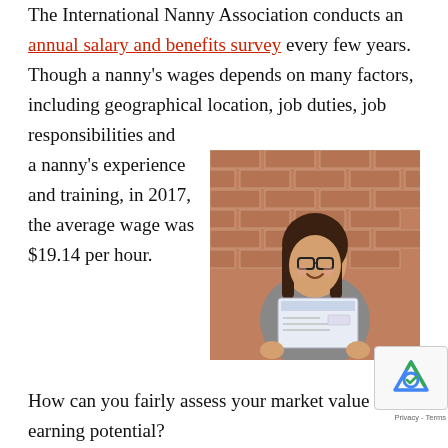The International Nanny Association conducts an annual salary and benefits survey every few years. Though a nanny's wages depends on many factors, including geographical location, job duties, job responsibilities and a nanny's experience and training, in 2017, the average wage was $19.14 per hour.
[Figure (photo): A smiling young woman with glasses and long dark hair holding up a paycheck in front of a brick wall background. She is wearing a grey top.]
How can you fairly assess your market value and earning potential?
Consider your experience. How long have you been a